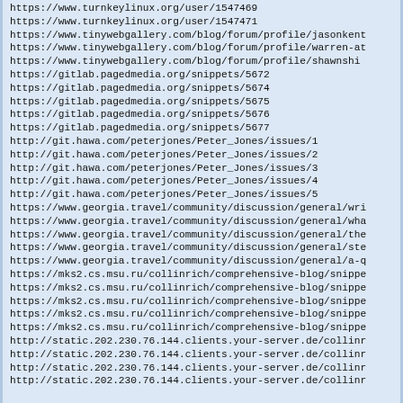https://www.turnkeylinux.org/user/1547469
https://www.turnkeylinux.org/user/1547471
https://www.tinywebgallery.com/blog/forum/profile/jasonkent
https://www.tinywebgallery.com/blog/forum/profile/warren-at
https://www.tinywebgallery.com/blog/forum/profile/shawnschi
https://gitlab.pagedmedia.org/snippets/5672
https://gitlab.pagedmedia.org/snippets/5674
https://gitlab.pagedmedia.org/snippets/5675
https://gitlab.pagedmedia.org/snippets/5676
https://gitlab.pagedmedia.org/snippets/5677
http://git.hawa.com/peterjones/Peter_Jones/issues/1
http://git.hawa.com/peterjones/Peter_Jones/issues/2
http://git.hawa.com/peterjones/Peter_Jones/issues/3
http://git.hawa.com/peterjones/Peter_Jones/issues/4
http://git.hawa.com/peterjones/Peter_Jones/issues/5
https://www.georgia.travel/community/discussion/general/wri
https://www.georgia.travel/community/discussion/general/wha
https://www.georgia.travel/community/discussion/general/the
https://www.georgia.travel/community/discussion/general/ste
https://www.georgia.travel/community/discussion/general/a-q
https://mks2.cs.msu.ru/collinrich/comprehensive-blog/snippe
https://mks2.cs.msu.ru/collinrich/comprehensive-blog/snippe
https://mks2.cs.msu.ru/collinrich/comprehensive-blog/snippe
https://mks2.cs.msu.ru/collinrich/comprehensive-blog/snippe
https://mks2.cs.msu.ru/collinrich/comprehensive-blog/snippe
http://static.202.230.76.144.clients.your-server.de/collinr
http://static.202.230.76.144.clients.your-server.de/collinr
http://static.202.230.76.144.clients.your-server.de/collinr
http://static.202.230.76.144.clients.your-server.de/collinr